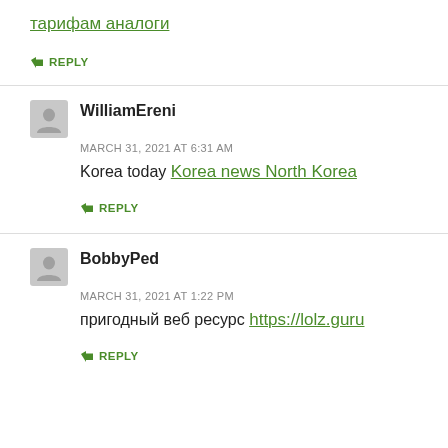тарифам аналоги
↳ REPLY
WilliamEreni
MARCH 31, 2021 AT 6:31 AM
Korea today Korea news North Korea
↳ REPLY
BobbyPed
MARCH 31, 2021 AT 1:22 PM
пригодный веб ресурс https://lolz.guru
↳ REPLY